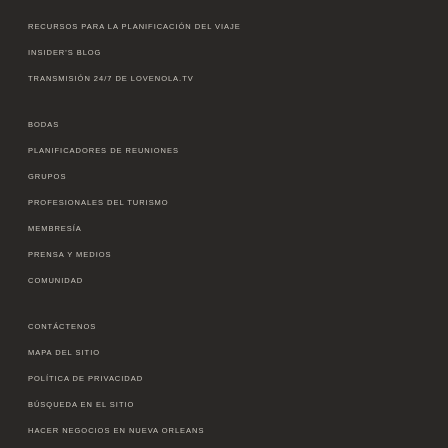RECURSOS PARA LA PLANIFICACIÓN DEL VIAJE
INSIDER'S BLOG
TRANSMISIÓN 24/7 DE LOVENOLA.TV
BODAS
PLANIFICADORES DE REUNIONES
GRUPOS
PROFESIONALES DEL TURISMO
MEMBRESÍA
PRENSA Y MEDIOS
COMUNIDAD
CONTÁCTENOS
MAPA DEL SITIO
POLÍTICA DE PRIVACIDAD
BÚSQUEDA EN EL SITIO
HACER NEGOCIOS EN NUEVA ORLEANS